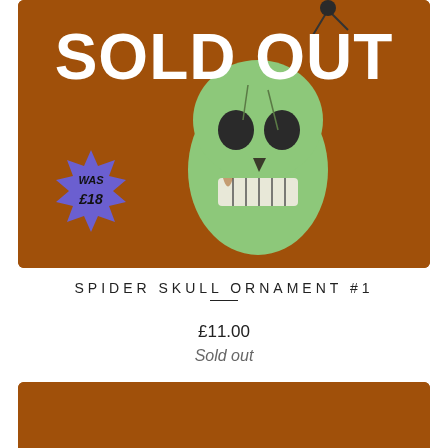[Figure (photo): Product photo of a skull ornament on an orange-brown background with a large white 'SOLD OUT' text overlay and a purple star badge reading 'WAS £18']
SPIDER SKULL ORNAMENT #1
£11.00
Sold out
[Figure (photo): Partial view of a second product photo with an orange-brown background, cropped at the bottom of the page]